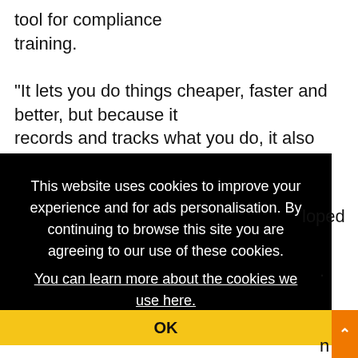tool for compliance training.
"It lets you do things cheaper, faster and better, but because it records and tracks what you do, it also lets you demonstrate your compliance
[Figure (screenshot): Cookie consent overlay with black background. Text reads: 'This website uses cookies to improve your experience and for ads personalisation. By continuing to browse this site you are agreeing to our use of these cookies. You can learn more about the cookies we use here.' with yellow OK button at the bottom and an orange scroll-to-top button.]